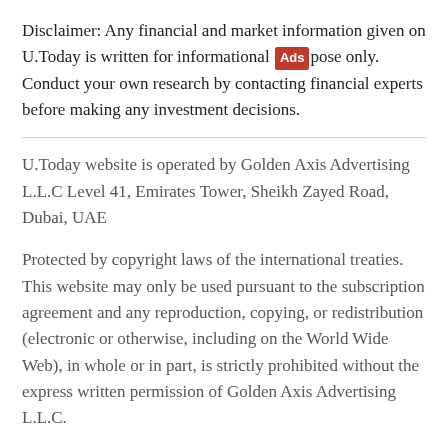Disclaimer: Any financial and market information given on U.Today is written for informational [Ads] pose only. Conduct your own research by contacting financial experts before making any investment decisions.
U.Today website is operated by Golden Axis Advertising L.L.C Level 41, Emirates Tower, Sheikh Zayed Road, Dubai, UAE
Protected by copyright laws of the international treaties. This website may only be used pursuant to the subscription agreement and any reproduction, copying, or redistribution (electronic or otherwise, including on the World Wide Web), in whole or in part, is strictly prohibited without the express written permission of Golden Axis Advertising L.L.C.